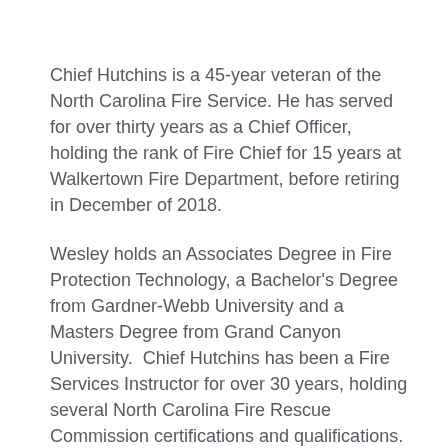Chief Hutchins is a 45-year veteran of the North Carolina Fire Service. He has served for over thirty years as a Chief Officer, holding the rank of Fire Chief for 15 years at Walkertown Fire Department, before retiring in December of 2018.
Wesley holds an Associates Degree in Fire Protection Technology, a Bachelor's Degree from Gardner-Webb University and a Masters Degree from Grand Canyon University.  Chief Hutchins has been a Fire Services Instructor for over 30 years, holding several North Carolina Fire Rescue Commission certifications and qualifications.  A graduate of the National Fire Academy's Executive Fire Officer Program, Wesley has also received